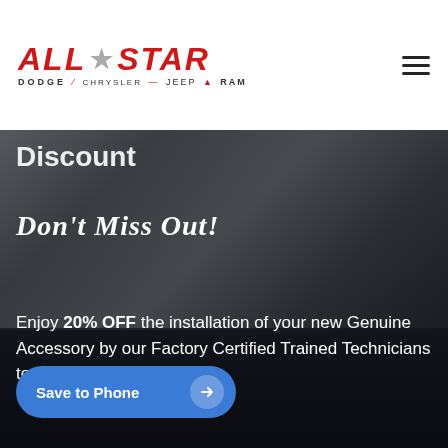[Figure (logo): All Star Dodge Chrysler Jeep Ram dealership logo with red italic text and star icon, with brand logos below]
[Figure (illustration): Hamburger menu icon (three horizontal lines)]
Discount
Don't Miss Out!
Enjoy 20% OFF the installation of your new Genuine Accessory by our Factory Certified Trained Technicians today at a special discount.
Save to Phone